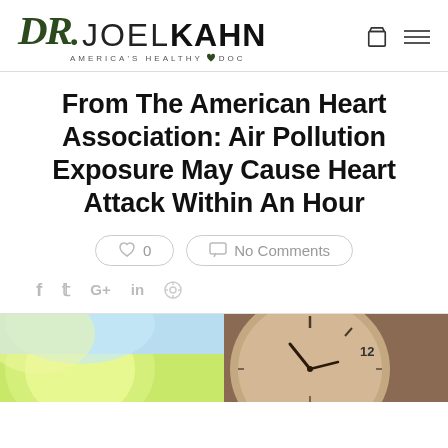DR. JOEL KAHN — AMERICA'S HEALTHY DOC
From The American Heart Association: Air Pollution Exposure May Cause Heart Attack Within An Hour
♡ 0   No Comments
f  t  G+  in  p
[Figure (photo): Split image showing a bright citrus fruit (lemon/lime) on the left side and an analog clock face on the right side, representing health vs. time/air pollution danger.]